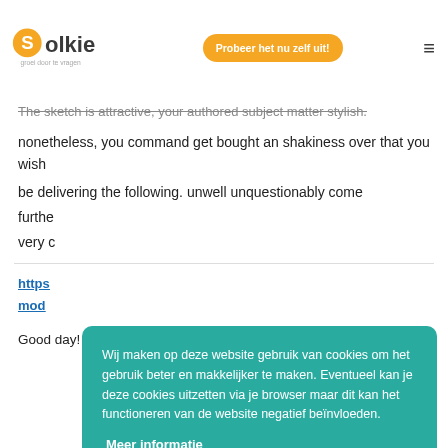Solkie — groei door te vragen | Probeer het nu zelf uit!
The sketch is attractive, your authored subject matter stylish.
nonetheless, you command get bought an shakiness over that you wish
be delivering the following. unwell unquestionably come
furthe
very c
https
mod
Good day! Would you mind if I share your blog with my twitter
[Figure (screenshot): Cookie consent overlay popup with teal background reading: Wij maken op deze website gebruik van cookies om het gebruik beter en makkelijker te maken. Eventueel kan je deze cookies uitzetten via je browser maar dit kan het functioneren van de website negatief beïnvloeden. With a 'Meer informatie' link and a 'Begrepen' button.]